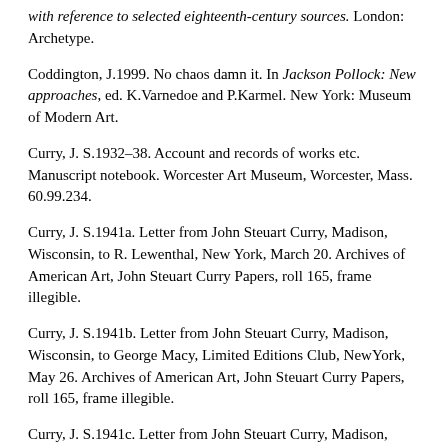with reference to selected eighteenth-century sources. London: Archetype.
Coddington, J.1999. No chaos damn it. In Jackson Pollock: New approaches, ed. K.Varnedoe and P.Karmel. New York: Museum of Modern Art.
Curry, J. S.1932–38. Account and records of works etc. Manuscript notebook. Worcester Art Museum, Worcester, Mass. 60.99.234.
Curry, J. S.1941a. Letter from John Steuart Curry, Madison, Wisconsin, to R. Lewenthal, New York, March 20. Archives of American Art, John Steuart Curry Papers, roll 165, frame illegible.
Curry, J. S.1941b. Letter from John Steuart Curry, Madison, Wisconsin, to George Macy, Limited Editions Club, NewYork, May 26. Archives of American Art, John Steuart Curry Papers, roll 165, frame illegible.
Curry, J. S.1941c. Letter from John Steuart Curry, Madison, Wisconsin, to Leonard Bogdanoff, New York, June 20. Archives of American Art, John Steuart Curry Papers, roll 164, frame 0367.
Curry, J. S.1943a. Letter from John Steuart Curry, Madi...